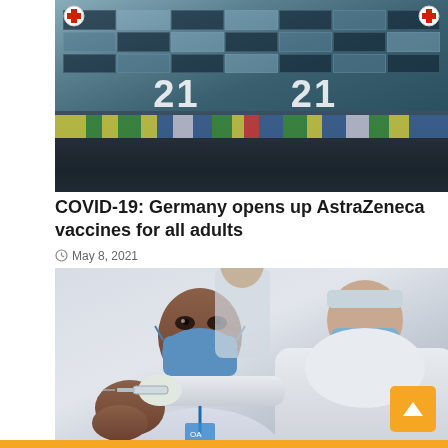[Figure (photo): Exterior of a large building with glass facade showing the number 21 displayed twice, with a crowd of people in safety vests visible at street level and vehicles nearby. A red cross sign is visible.]
COVID-19: Germany opens up AstraZeneca vaccines for all adults
May 8, 2021
[Figure (photo): A person wearing a face mask and lanyard receiving a vaccine injection in the arm from a healthcare worker in a white coat and mask.]